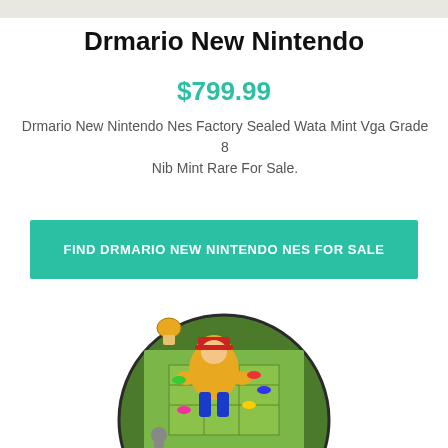[Figure (photo): Top portion of a product image, showing a light beige/grey background strip at the top of the page]
Drmario New Nintendo
$799.99
Drmario New Nintendo Nes Factory Sealed Wata Mint Vga Grade 8 Nib Mint Rare For Sale.
FIND DRMARIO NEW NINTENDO NES FOR SALE
[Figure (photo): Circular illustration showing a Dr. Mario game scene with Mario character in yellow outfit on a colorful game board background]